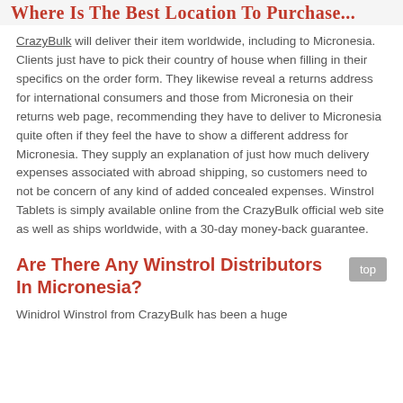Where Is The Best Location To Purchase...
CrazyBulk will deliver their item worldwide, including to Micronesia. Clients just have to pick their country of house when filling in their specifics on the order form. They likewise reveal a returns address for international consumers and those from Micronesia on their returns web page, recommending they have to deliver to Micronesia quite often if they feel the have to show a different address for Micronesia. They supply an explanation of just how much delivery expenses associated with abroad shipping, so customers need to not be concern of any kind of added concealed expenses. Winstrol Tablets is simply available online from the CrazyBulk official web site as well as ships worldwide, with a 30-day money-back guarantee.
Are There Any Winstrol Distributors In Micronesia?
Winidrol Winstrol from CrazyBulk has been a huge